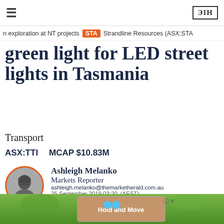☰  ΞIH
n exploration at NT projects  STA  Strandline Resources (ASX:STA
green light for LED street lights in Tasmania
Transport
ASX:TTI   MCAP $10.83M
Ashleigh Melanko
Markets Reporter
ashleigh.melanko@themarketherald.com.au
25 September 2019 03:20  (AEST)
[Figure (photo): Photo of Ashleigh Melanko, circular portrait with orange border]
[Figure (illustration): Social sharing icons: Facebook, Twitter, LinkedIn, Email - orange circle outlines]
[Figure (photo): Outdoor background photo with green foliage and advertisement overlay reading 'Hold and Move']